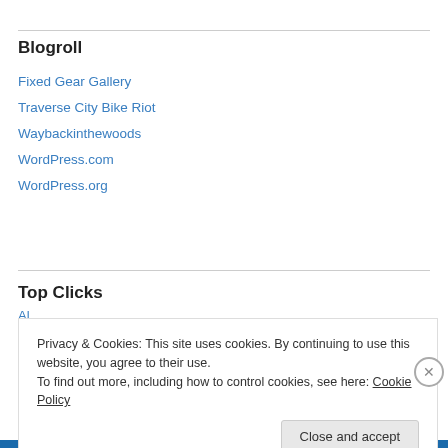Blogroll
Fixed Gear Gallery
Traverse City Bike Riot
Waybackinthewoods
WordPress.com
WordPress.org
Top Clicks
Privacy & Cookies: This site uses cookies. By continuing to use this website, you agree to their use.
To find out more, including how to control cookies, see here: Cookie Policy